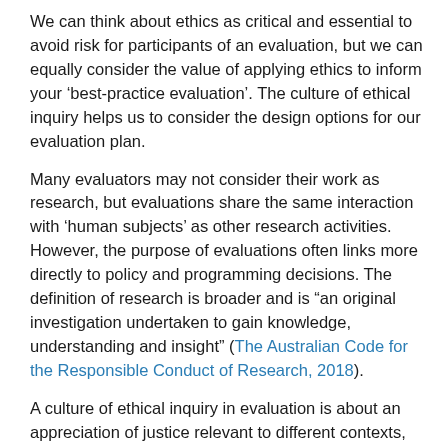We can think about ethics as critical and essential to avoid risk for participants of an evaluation, but we can equally consider the value of applying ethics to inform your 'best-practice evaluation'. The culture of ethical inquiry helps us to consider the design options for our evaluation plan.
Many evaluators may not consider their work as research, but evaluations share the same interaction with 'human subjects' as other research activities. However, the purpose of evaluations often links more directly to policy and programming decisions. The definition of research is broader and is "an original investigation undertaken to gain knowledge, understanding and insight" (The Australian Code for the Responsible Conduct of Research, 2018).
A culture of ethical inquiry in evaluation is about an appreciation of justice relevant to different contexts, peoples, and cultures. Ethical inquiry is why and how to make choices with integrity in evaluation design and implementation. A culture of ethical inquiry is not just going through the formal compliance processes associated with university-housed Human Research Ethics Committees